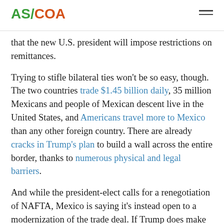AS/COA
that the new U.S. president will impose restrictions on remittances.
Trying to stifle bilateral ties won't be so easy, though. The two countries trade $1.45 billion daily, 35 million Mexicans and people of Mexican descent live in the United States, and Americans travel more to Mexico than any other foreign country. There are already cracks in Trump's plan to build a wall across the entire border, thanks to numerous physical and legal barriers.
And while the president-elect calls for a renegotiation of NAFTA, Mexico is saying it's instead open to a modernization of the trade deal. If Trump does make good on pledges to restrict trade, Mexico—and other Latin American countries—may well look to China to fill the gap.
B